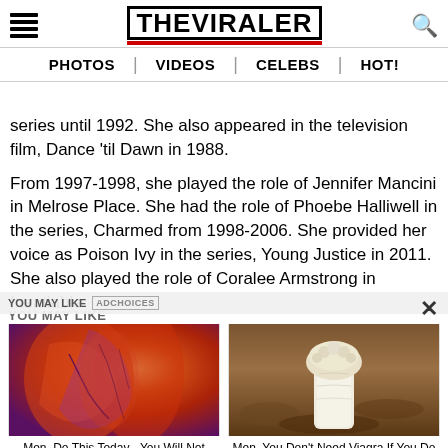THE VIRALER — PHOTOS | VIDEOS | CELEBS | HOT!
series until 1992. She also appeared in the television film, Dance 'til Dawn in 1988.
From 1997-1998, she played the role of Jennifer Mancini in Melrose Place. She had the role of Phoebe Halliwell in the series, Charmed from 1998-2006. She provided her voice as Poison Ivy in the series, Young Justice in 2011. She also played the role of Coralee Armstrong in Insatiable
YOU MAY LIKE
[Figure (photo): Red/orange abstract close-up photo]
Men, Do This Today - You Will Not Need The Blue Tablets Anymore!
[Figure (photo): White mushroom on brown soil background]
Men, You Don't Need Viagra If You Do This Once A Day